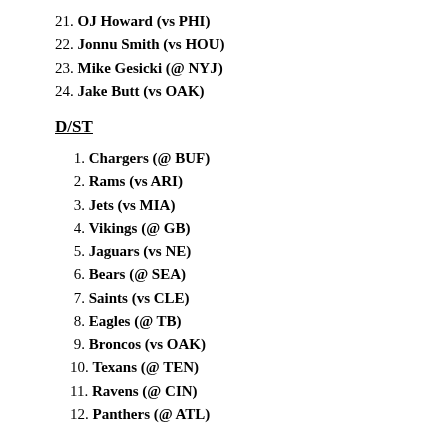21. OJ Howard (vs PHI)
22. Jonnu Smith (vs HOU)
23. Mike Gesicki (@ NYJ)
24. Jake Butt (vs OAK)
D/ST
1. Chargers (@ BUF)
2. Rams (vs ARI)
3. Jets (vs MIA)
4. Vikings (@ GB)
5. Jaguars (vs NE)
6. Bears (@ SEA)
7. Saints (vs CLE)
8. Eagles (@ TB)
9. Broncos (vs OAK)
10. Texans (@ TEN)
11. Ravens (@ CIN)
12. Panthers (@ ATL)